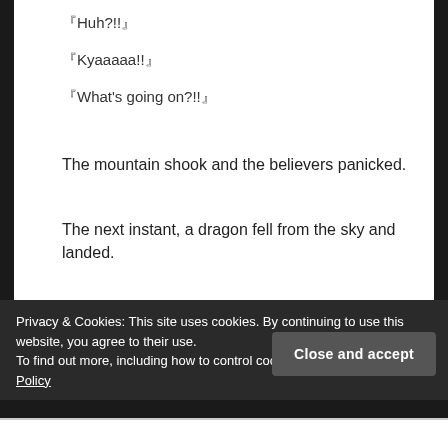『Huh?!!』
『Kyaaaaa!!』
『What's going on?!!』
The mountain shook and the believers panicked.
The next instant, a dragon fell from the sky and landed.
Privacy & Cookies: This site uses cookies. By continuing to use this website, you agree to their use.
To find out more, including how to control cookies, see here: Our Cookie Policy
Close and accept